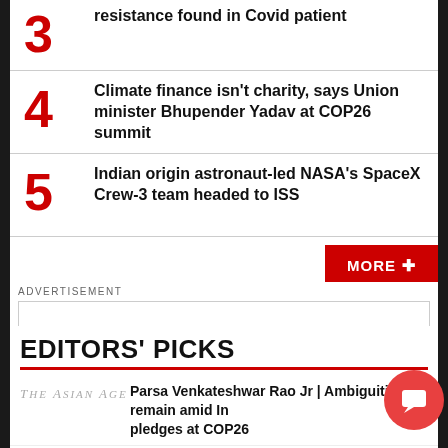3 resistance found in Covid patient
4 Climate finance isn't charity, says Union minister Bhupender Yadav at COP26 summit
5 Indian origin astronaut-led NASA's SpaceX Crew-3 team headed to ISS
MORE +
ADVERTISEMENT
EDITORS' PICKS
Parsa Venkateshwar Rao Jr | Ambiguities remain amid In pledges at COP26
Jai Bhim: Protecting rights and